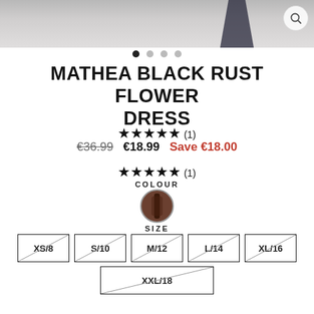[Figure (photo): Top partial product photo strip showing shoes/clothing on white fuzzy background with magnifier icon]
MATHEA BLACK RUST FLOWER DRESS
★★★★★ (1)
€36.99  €18.99  Save €18.00
★★★★★ (1)
COLOUR
[Figure (other): Dark brown/rust colour swatch circle]
SIZE
XS/8  S/10  M/12  L/14  XL/16  XXL/18